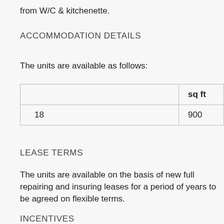from W/C & kitchenette.
ACCOMMODATION DETAILS
The units are available as follows:
|  | sq ft |
| --- | --- |
| 18 | 900 |
LEASE TERMS
The units are available on the basis of new full repairing and insuring leases for a period of years to be agreed on flexible terms.
INCENTIVES